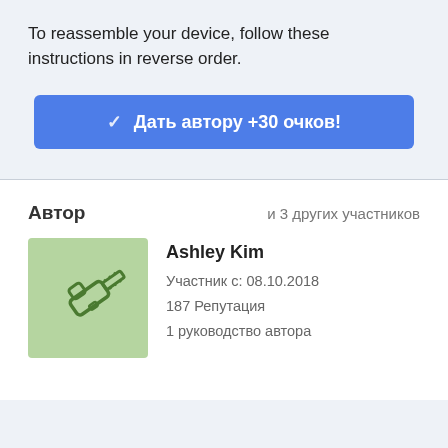To reassemble your device, follow these instructions in reverse order.
[Figure (other): Blue button with checkmark and Russian text: Дать автору +30 очков!]
Автор
и 3 других участников
[Figure (illustration): Green square avatar with chainsaw icon]
Ashley Kim
Участник с: 08.10.2018
187 Репутация
1 руководство автора